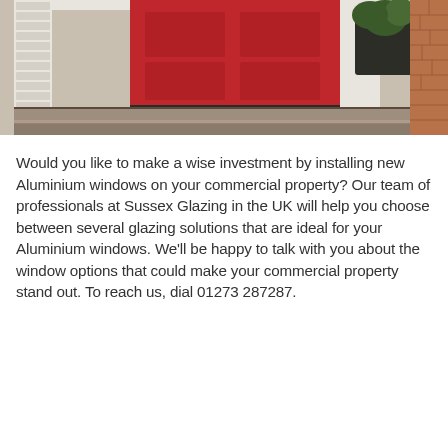[Figure (photo): Photograph of a front door entrance with a red door, concrete steps, white door frame, and a potted plant on the right side. Brick wall visible on the far right.]
Would you like to make a wise investment by installing new Aluminium windows on your commercial property? Our team of professionals at Sussex Glazing in the UK will help you choose between several glazing solutions that are ideal for your Aluminium windows. We'll be happy to talk with you about the window options that could make your commercial property stand out. To reach us, dial 01273 287287.